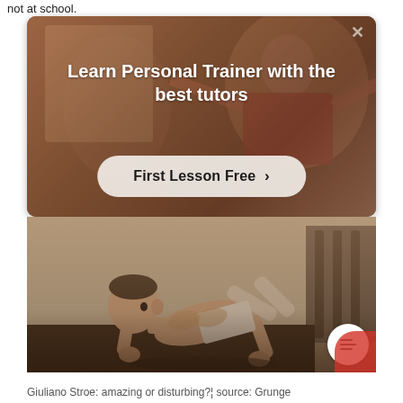not at school.
[Figure (screenshot): Advertisement card with dark warm brown background showing a personal trainer in a gym. White bold text reads 'Learn Personal Trainer with the best tutors'. Below is a light rounded button reading 'First Lesson Free >' with a close X button in top right.]
[Figure (photo): Photo of Giuliano Stroe, a young muscular child performing a one-arm planche or similar gymnastics move on the floor, shirtless wearing shorts, demonstrating extraordinary strength.]
Giuliano Stroe: amazing or disturbing?¦ source: Grunge